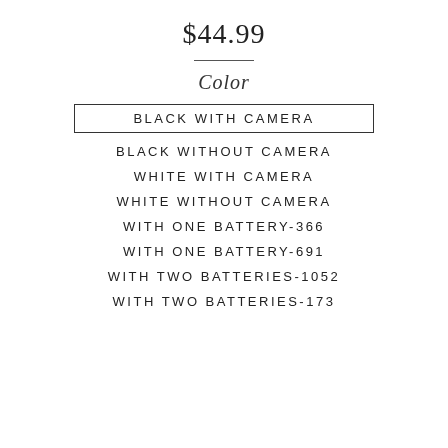$44.99
Color
BLACK WITH CAMERA
BLACK WITHOUT CAMERA
WHITE WITH CAMERA
WHITE WITHOUT CAMERA
WITH ONE BATTERY-366
WITH ONE BATTERY-691
WITH TWO BATTERIES-1052
WITH TWO BATTERIES-173